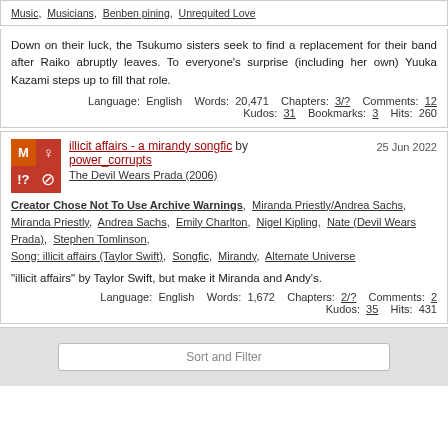Music, Musicians, Benben pining, Unrequited Love
Down on their luck, the Tsukumo sisters seek to find a replacement for their band after Raiko abruptly leaves. To everyone's surprise (including her own) Yuuka Kazami steps up to fill that role.
Language: English  Words: 20,471  Chapters: 3/?  Comments: 12  Kudos: 31  Bookmarks: 3  Hits: 260
[Figure (other): Fic icon with M, female symbol, !?, and no symbol in a 2x2 grid with orange and red backgrounds]
illicit affairs - a mirandy songfic by power_corrupts  25 Jun 2022
The Devil Wears Prada (2006)
Creator Chose Not To Use Archive Warnings, Miranda Priestly/Andrea Sachs, Miranda Priestly, Andrea Sachs, Emily Charlton, Nigel Kipling, Nate (Devil Wears Prada), Stephen Tomlinson, Song: illicit affairs (Taylor Swift), Songfic, Mirandy, Alternate Universe
"illicit affairs" by Taylor Swift, but make it Miranda and Andy's.
Language: English  Words: 1,672  Chapters: 2/?  Comments: 2  Kudos: 35  Hits: 431
Sort and Filter